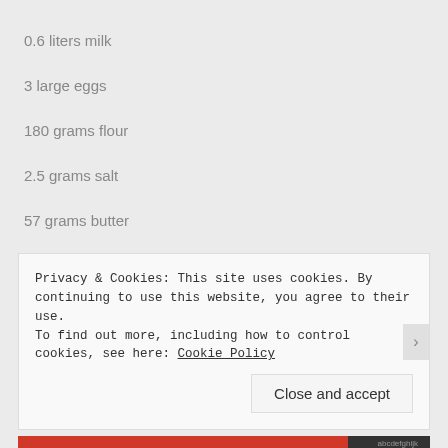0.6 liters milk
3 large eggs
180 grams flour
2.5 grams salt
57 grams butter
Privacy & Cookies: This site uses cookies. By continuing to use this website, you agree to their use.
To find out more, including how to control cookies, see here: Cookie Policy
Close and accept